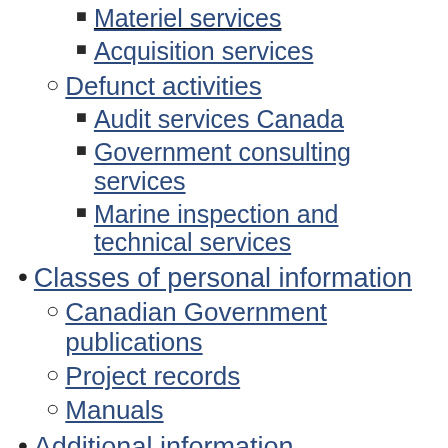Materiel services
Acquisition services
Defunct activities
Audit services Canada
Government consulting services
Marine inspection and technical services
Classes of personal information
Canadian Government publications
Project records
Manuals
Additional information